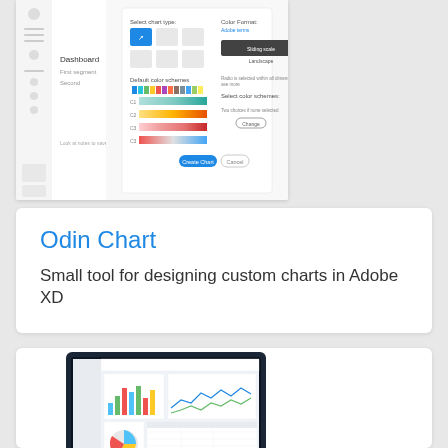[Figure (screenshot): Dashboard UI screenshot showing chart configuration panel with color scheme selectors and chart type icons]
Odin Chart
Small tool for designing custom charts in Adobe XD
[Figure (screenshot): Monitor/iMac displaying a dashboard with bar charts, line charts and data panels]